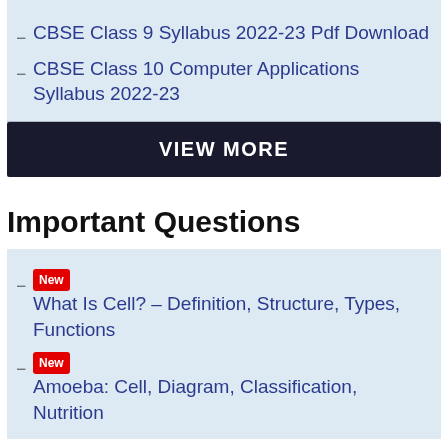CBSE Class 9 Syllabus 2022-23 Pdf Download
CBSE Class 10 Computer Applications Syllabus 2022-23
VIEW MORE
Important Questions
New  What Is Cell? – Definition, Structure, Types, Functions
New  Amoeba: Cell, Diagram, Classification, Nutrition